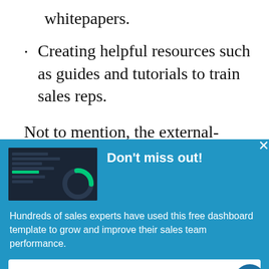whitepapers.
Creating helpful resources such as guides and tutorials to train sales reps.
Not to mention, the external-facing content also includes content that helps
[Figure (screenshot): A popup/modal overlay with blue background. Contains a small dark dashboard screenshot image on the left, bold white title 'Don't miss out!' on the right, a close X button in top right, body text 'Hundreds of sales experts have used this free dashboard template to grow and improve their sales team performance.', and a white button labeled 'GET FREE DASHBOARD'. A chat bubble icon appears bottom right.]